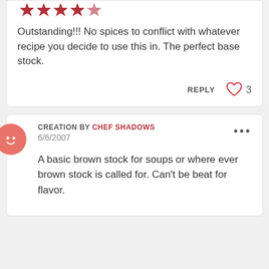[Figure (other): Five red bookmark/ribbon star icons representing a 5-star rating]
Outstanding!!! No spices to conflict with whatever recipe you decide to use this in. The perfect base stock.
REPLY  ♡ 3
CREATION BY CHEF SHADOWS
6/6/2007
A basic brown stock for soups or where ever brown stock is called for. Can't be beat for flavor.